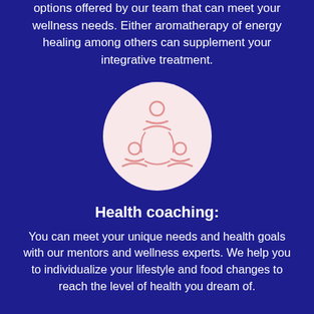options offered by our team that can meet your wellness needs. Either aromatherapy of energy healing among others can supplement your integrative treatment.
[Figure (illustration): Pink circle icon on light pink background showing three person silhouettes arranged in a triangle/group coaching formation]
Health coaching:
You can meet your unique needs and health goals with our mentors and wellness experts. We help you to individualize your lifestyle and food changes to reach the level of health you dream of.